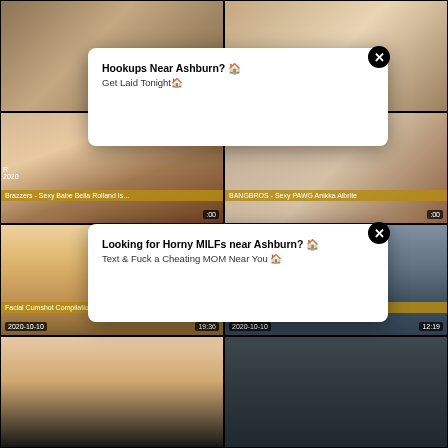[Figure (screenshot): Video thumbnail grid with adult content titles and popup ad overlays. Top-left: partial video thumbnail. Top-right: partial video thumbnail. Second row left: 'Brazzers - Sexy Babe Bella Rolland Is...' with timestamp 2020. Second row right: 'BANGBROS - Sexy PAWG Anikka Albrite' with timestamp :00. Third row left: 'Facial Cumshot Compilation -' dated 2020-10-10 duration 19:36. Third row right: 'kinky blonde wife having multiple' dated 2020-10-10 duration 12:19. Bottom row: two more thumbnails. Popup ads: 'Hookups Near Ashburn? Get Laid Tonight' and 'Looking for Horny MILFs near Ashburn? Text & Fuck a Cheating MOM Near You']